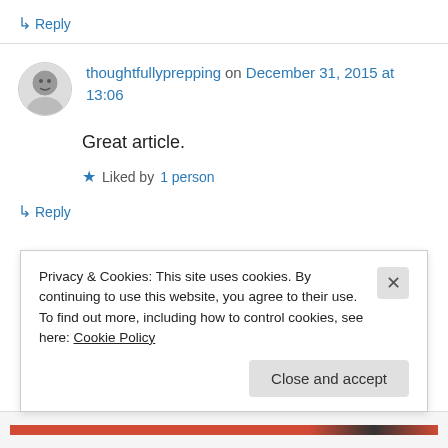↳ Reply
thoughtfullyprepping on December 31, 2015 at 13:06
Great article.
★ Liked by 1 person
↳ Reply
Privacy & Cookies: This site uses cookies. By continuing to use this website, you agree to their use.
To find out more, including how to control cookies, see here: Cookie Policy
Close and accept